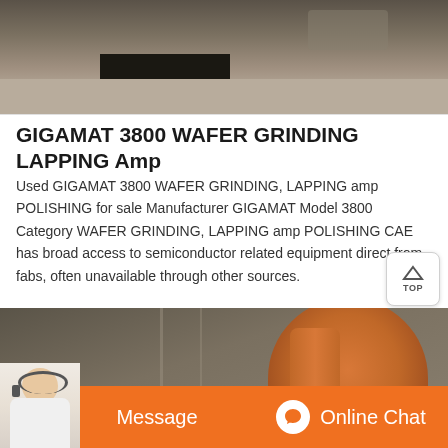[Figure (photo): Top portion of industrial facility showing a pit/depression in a dirt/sandy floor inside a structure]
GIGAMAT 3800 WAFER GRINDING LAPPING Amp
Used GIGAMAT 3800 WAFER GRINDING, LAPPING amp POLISHING for sale Manufacturer GIGAMAT Model 3800 Category WAFER GRINDING, LAPPING amp POLISHING CAE has broad access to semiconductor related equipment direct from fabs, often unavailable through other sources.
[Figure (photo): Industrial machinery - large orange/rust colored grinding or milling machine inside a warehouse/factory building]
Message
Online Chat